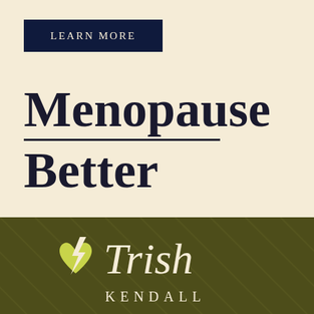LEARN MORE
Menopause Better
[Figure (logo): Trish Kendall logo with a yellow heart and lightning bolt icon, and the text 'Trish' in cream italic script and 'KENDALL' in cream spaced capitals, on an olive-green diagonal striped background]